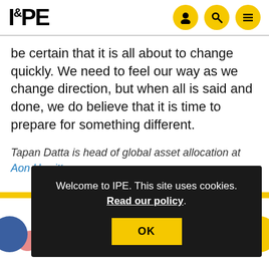IPE
be certain that it is all about to change quickly. We need to feel our way as we change direction, but when all is said and done, we do believe that it is time to prepare for something different.
Tapan Datta is head of global asset allocation at Aon Hewitt
Welcome to IPE. This site uses cookies. Read our policy.
[Figure (logo): IPE logo with ampersand symbol in black bold text]